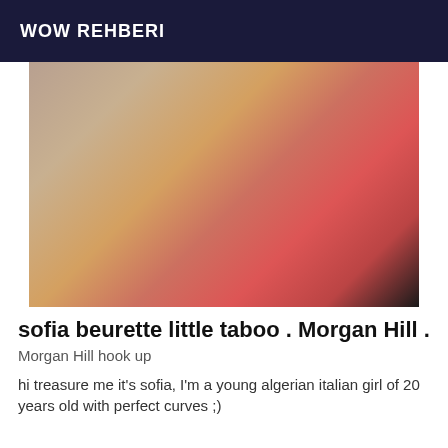WOW REHBERI
[Figure (photo): A photograph of a person in a red outfit lying down, viewed from above]
sofia beurette little taboo . Morgan Hill .
Morgan Hill hook up
hi treasure me it's sofia, I'm a young algerian italian girl of 20 years old with perfect curves ;)